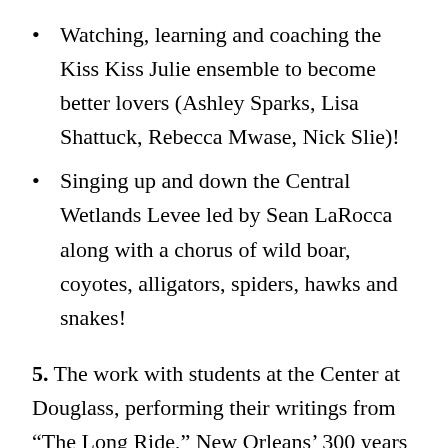Watching, learning and coaching the Kiss Kiss Julie ensemble to become better lovers (Ashley Sparks, Lisa Shattuck, Rebecca Mwase, Nick Slie)!
Singing up and down the Central Wetlands Levee led by Sean LaRocca along with a chorus of wild boar, coyotes, alligators, spiders, hawks and snakes!
5. The work with students at the Center at Douglass, performing their writings from “The Long Ride,” New Orleans’ 300 years of black resistance; and McMain girls performing at the Red Tent in the